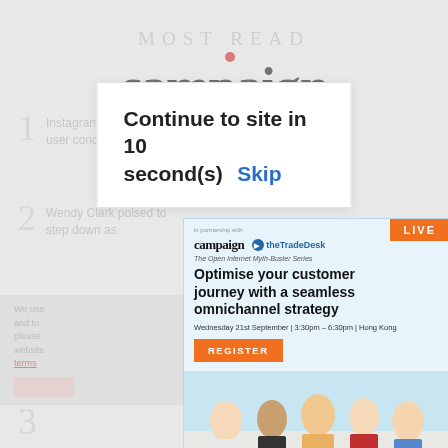MOST READ
[Figure (logo): Campaign magazine logo with red dot over the 'i']
1 Instagram responds to 'precise location' user concerns
Continue to site in 10 second(s)   Skip
2 Wendy Clark poised to step down as
[Figure (infographic): Campaign and theTradeDesk ad banner: 'The Open Internet Myth-Buster Series - Optimise your customer journey with a seamless omnichannel strategy. Wednesday 21st September | 3:30pm – 6:30pm | Hong Kong. REGISTER button. LIVE badge. Photo of five young people.]
3